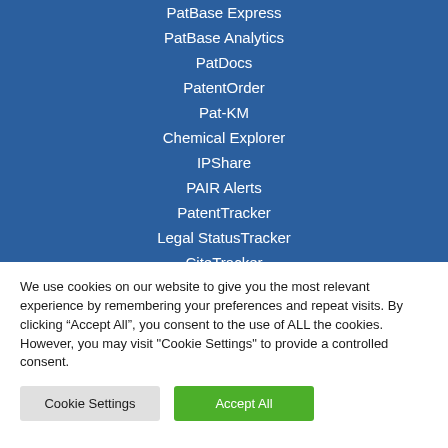PatBase Express
PatBase Analytics
PatDocs
PatentOrder
Pat-KM
Chemical Explorer
IPShare
PAIR Alerts
PatentTracker
Legal StatusTracker
CiteTracker
We use cookies on our website to give you the most relevant experience by remembering your preferences and repeat visits. By clicking “Accept All”, you consent to the use of ALL the cookies. However, you may visit "Cookie Settings" to provide a controlled consent.